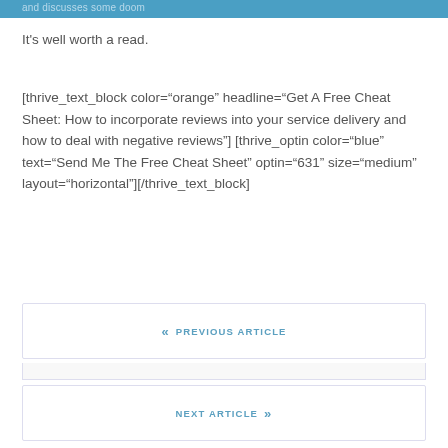and discusses some doom
It's well worth a read.
[thrive_text_block color="orange" headline="Get A Free Cheat Sheet: How to incorporate reviews into your service delivery and how to deal with negative reviews"] [thrive_optin color="blue" text="Send Me The Free Cheat Sheet" optin="631" size="medium" layout="horizontal"][/thrive_text_block]
« PREVIOUS ARTICLE
NEXT ARTICLE »